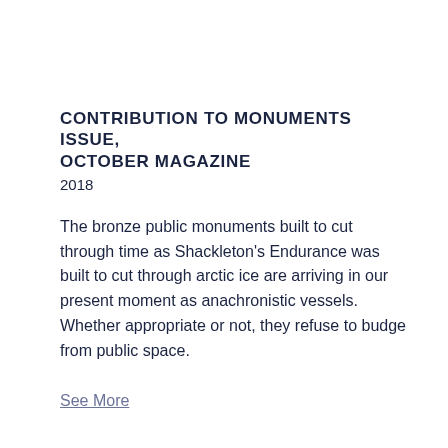CONTRIBUTION TO MONUMENTS ISSUE, OCTOBER MAGAZINE
2018
The bronze public monuments built to cut through time as Shackleton’s Endurance was built to cut through arctic ice are arriving in our present moment as anachronistic vessels. Whether appropriate or not, they refuse to budge from public space.
See More